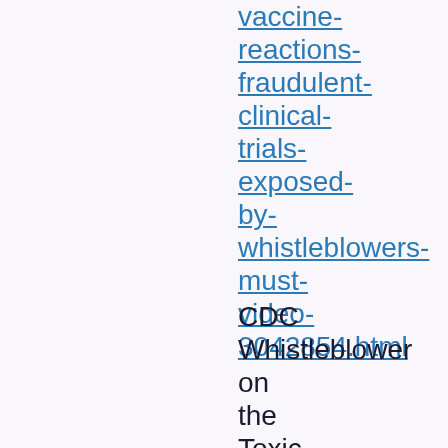vaccine-reactions-fraudulent-clinical-trials-exposed-by-whistleblowers-must-video-3042854.html
CDC Whistleblower on the Toxic Jabs: https://beforeitsnews.com